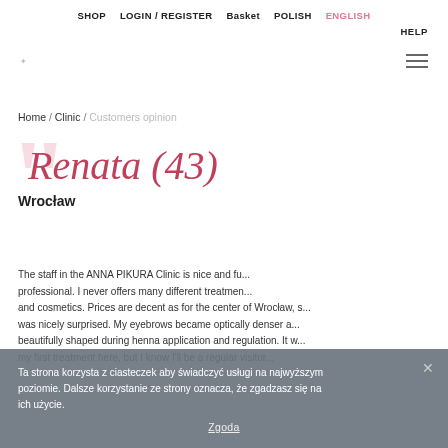SHOP  LOGIN / REGISTER  Basket  POLISH  ENGLISH
HELP
Home / Clinic / Customers opinion
Renata (43)
Wrocław
The staff in the ANNA PIKURA Clinic is nice and fu... professional. I never offers many different treatmen... and cosmetics. Prices are decent as for the center of Wrocław, s... was nicely surprised. My eyebrows became optically denser a... beautifully shaped during henna application and regulation. It w... my first treatment here, but I know I'll be a regular visitor...
Ta strona korzysta z ciasteczek aby świadczyć usługi na najwyższym poziomie. Dalsze korzystanie ze strony oznacza, że zgadzasz się na ich użycie. Zgoda